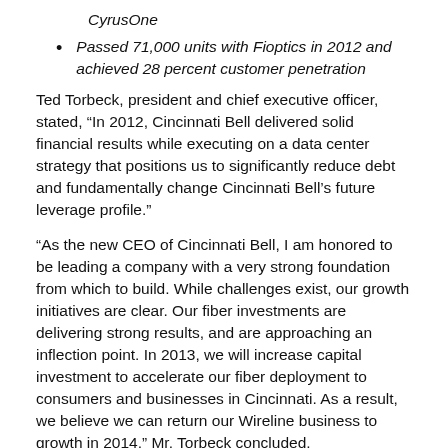CyrusOne
Passed 71,000 units with Fioptics in 2012 and achieved 28 percent customer penetration
Ted Torbeck, president and chief executive officer, stated, “In 2012, Cincinnati Bell delivered solid financial results while executing on a data center strategy that positions us to significantly reduce debt and fundamentally change Cincinnati Bell’s future leverage profile.”
“As the new CEO of Cincinnati Bell, I am honored to be leading a company with a very strong foundation from which to build. While challenges exist, our growth initiatives are clear. Our fiber investments are delivering strong results, and are approaching an inflection point. In 2013, we will increase capital investment to accelerate our fiber deployment to consumers and businesses in Cincinnati. As a result, we believe we can return our Wireline business to growth in 2014,” Mr. Torbeck concluded.